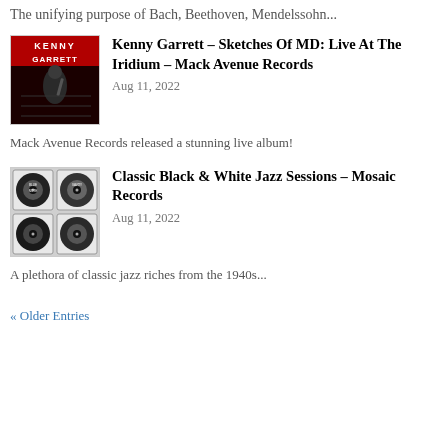The unifying purpose of Bach, Beethoven, Mendelssohn...
[Figure (photo): Album cover for Kenny Garrett – Sketches Of MD: Live At The Iridium showing Kenny Garrett playing saxophone on a red and dark background]
Kenny Garrett – Sketches Of MD: Live At The Iridium – Mack Avenue Records
Aug 11, 2022
Mack Avenue Records released a stunning live album!
[Figure (photo): Album cover for Classic Black & White Jazz Sessions – Mosaic Records showing four black and white vinyl record labels arranged in a grid]
Classic Black & White Jazz Sessions – Mosaic Records
Aug 11, 2022
A plethora of classic jazz riches from the 1940s...
« Older Entries